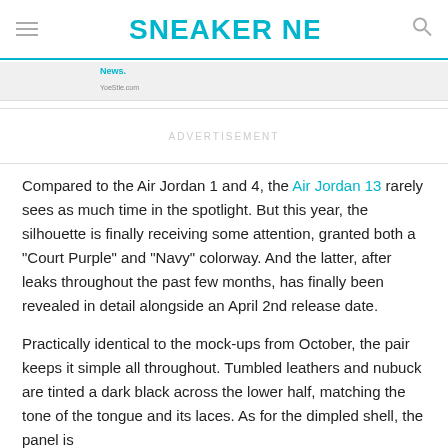SNEAKER NEWS
News.
ADVERTISEMENT
Compared to the Air Jordan 1 and 4, the Air Jordan 13 rarely sees as much time in the spotlight. But this year, the silhouette is finally receiving some attention, granted both a “Court Purple” and “Navy” colorway. And the latter, after leaks throughout the past few months, has finally been revealed in detail alongside an April 2nd release date.
Practically identical to the mock-ups from October, the pair keeps it simple all throughout. Tumbled leathers and nubuck are tinted a dark black across the lower half, matching the tone of the tongue and its laces. As for the dimpled shell, the panel is